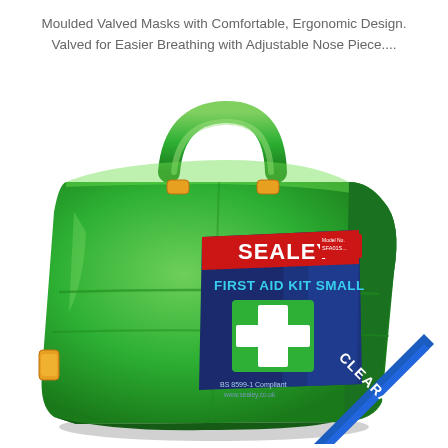Moulded Valved Masks with Comfortable, Ergonomic Design. Valved for Easier Breathing with Adjustable Nose Piece....
[Figure (photo): Sealey First Aid Kit Small in a green plastic carry case with a handle and two yellow latches. The case has a blue label showing the Sealey logo, 'FIRST AID KIT SMALL' text, a green first aid cross symbol, and 'BS 8599-1 Compliant' text. A blue diagonal 'CLEARANCE' banner is in the bottom-right corner.]